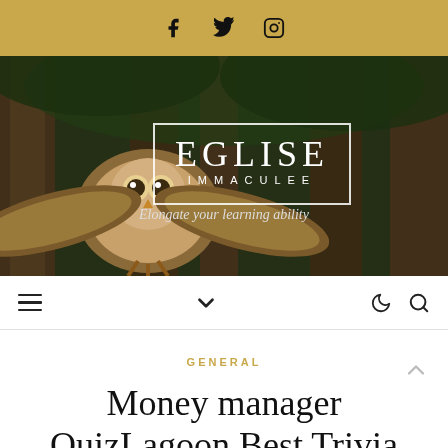Social icons: Facebook, Twitter, Instagram
[Figure (photo): Hero banner with an owl in flight against a forest background, with the Eglise Immaculee logo overlaid and tagline 'Elongate your learning ability']
Navigation bar with menu icon, chevron, moon/dark mode icon, and search icon
GENERAL
Money manager QuizLagoon Best Trivia